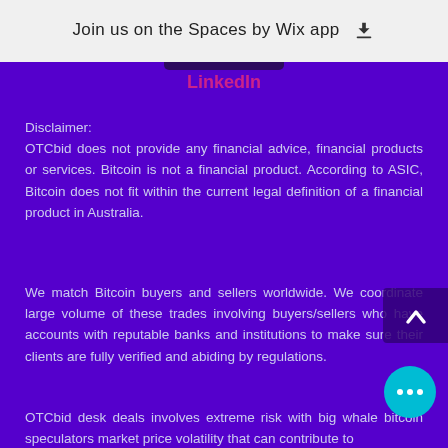Join us on the Spaces by Wix app ⬇
LinkedIn
Disclaimer:
OTCbid does not provide any financial advice, financial products or services. Bitcoin is not a financial product. According to ASIC, Bitcoin does not fit within the current legal definition of a financial product in Australia.
We match Bitcoin buyers and sellers worldwide. We coordinate large volume of these trades involving buyers/sellers who have accounts with reputable banks and institutions to make sure their clients are fully verified and abiding by regulations.
OTCbid desk deals involves extreme risk with big whale bitcoin speculators market price volatility that can contribute to